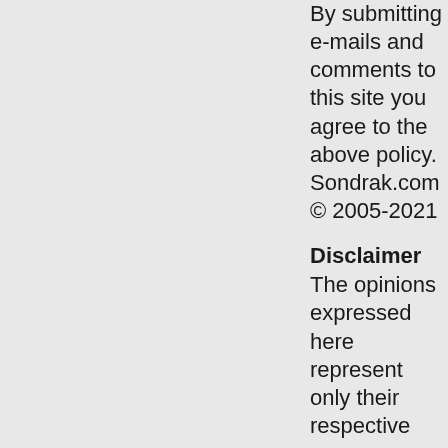By submitting e-mails and comments to this site you agree to the above policy. Sondrak.com © 2005-2021
Disclaimer
The opinions expressed here represent only their respective